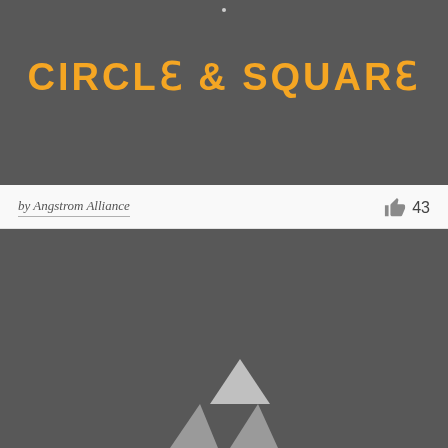[Figure (logo): Dark gray rectangular card with orange bold text reading 'CIRCLE & SQUARE' centered near the top on a dark charcoal background]
by Angstrom Alliance
43
[Figure (logo): Second dark gray rectangular card with a partially visible geometric logo at the bottom center, showing light gray angular shapes resembling stylized letters]